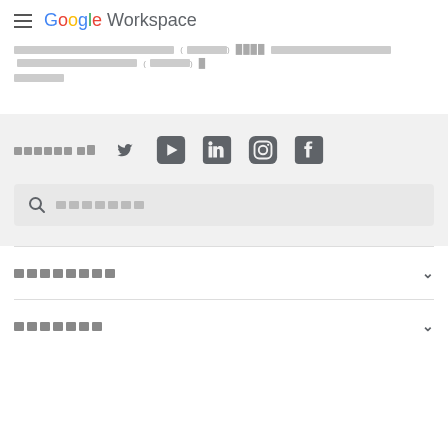Google Workspace
[redacted text block]
[Figure (screenshot): Social media follow section with Twitter, YouTube, LinkedIn, Instagram, and Facebook icons]
[Figure (screenshot): Search bar with magnifying glass icon and placeholder text]
[redacted accordion item 1]
[redacted accordion item 2]